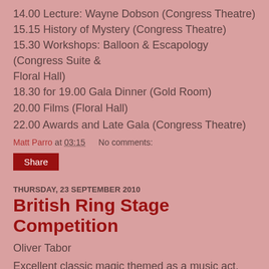14.00 Lecture: Wayne Dobson (Congress Theatre)
15.15 History of Mystery (Congress Theatre)
15.30 Workshops: Balloon & Escapology (Congress Suite & Floral Hall)
18.30 for 19.00 Gala Dinner (Gold Room)
20.00 Films (Floral Hall)
22.00 Awards and Late Gala (Congress Theatre)
Matt Parro at 03:15   No comments:
Share
THURSDAY, 23 SEPTEMBER 2010
British Ring Stage Competition
Oliver Tabor
Excellent classic magic themed as a music act, very good indeed.
Stu: 9 Matt: 7 Paul: 8.3
Piff the tragic dragon (canceled due to a paying gig)